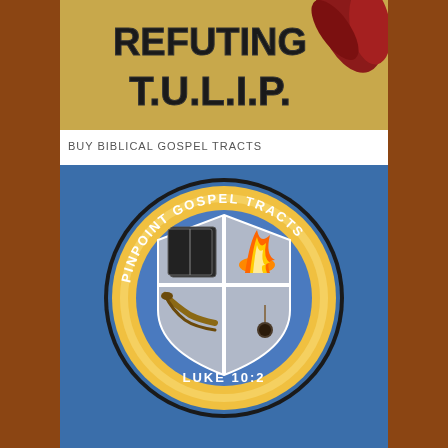[Figure (illustration): Banner image reading REFUTING T.U.L.I.P. with gold/yellow background and red dried flowers/peppers]
BUY BIBLICAL GOSPEL TRACTS
[Figure (logo): Pinpoint Gospel Tracts circular logo on blue background with shield divided into four quadrants showing a Bible, flame, horn, and writing quill, with text PINPOINT GOSPEL TRACTS around the circle and LUKE 10:2 at the bottom]